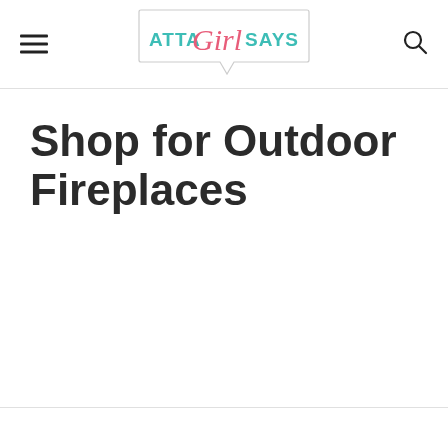Atta Girl Says
Shop for Outdoor Fireplaces